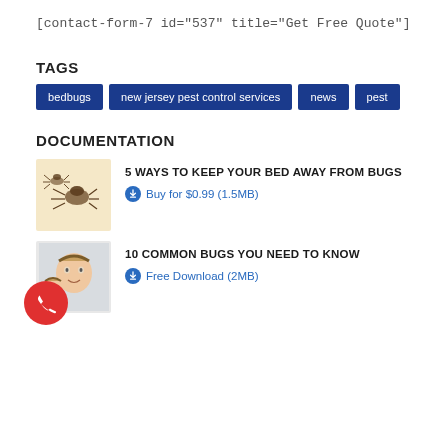[contact-form-7 id="537" title="Get Free Quote"]
TAGS
bedbugs
new jersey pest control services
news
pest
DOCUMENTATION
5 WAYS TO KEEP YOUR BED AWAY FROM BUGS
Buy for $0.99 (1.5MB)
10 COMMON BUGS YOU NEED TO KNOW
Free Download (2MB)